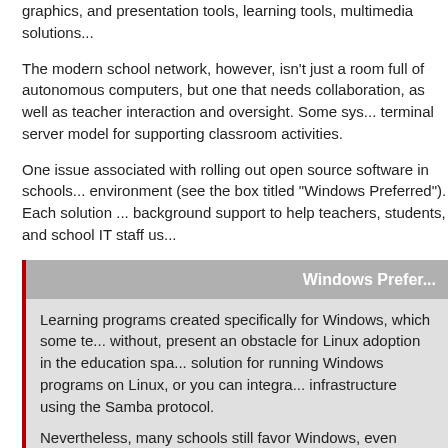graphics, and presentation tools, learning tools, multimedia solutions...
The modern school network, however, isn't just a room full of autonomous computers, but one that needs collaboration, as well as teacher interaction and oversight. Some sys... terminal server model for supporting classroom activities.
One issue associated with rolling out open source software in schools... environment (see the box titled "Windows Preferred"). Each solution... background support to help teachers, students, and school IT staff us...
Windows Prefer...
Learning programs created specifically for Windows, which some te... without, present an obstacle for Linux adoption in the education spa... solution for running Windows programs on Linux, or you can integra... infrastructure using the Samba protocol.
Nevertheless, many schools still favor Windows, even when the Wi... outdated. Some schools in the world, for example, are still using Wi...
This article tours some popular Linux distros designed for educational... UberStudent [2], Edubuntu [3], DebianEdu [4], openSUSE Edu-Life [5...